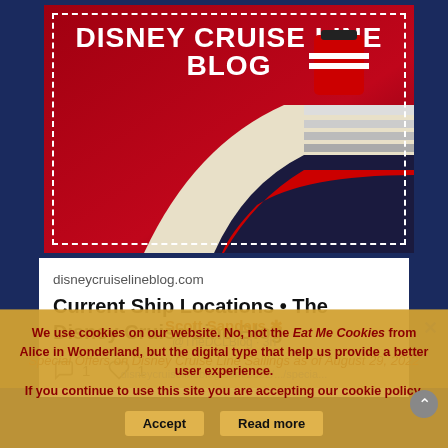[Figure (illustration): Disney Cruise Line Blog logo image showing a large white cruise ship bow with a red funnel against a dark red background, surrounded by a navy blue border with dashed white inner border.]
disneycruiselineblog.com
Current Ship Locations • The Disney Cruise Line Blog
1 comment  1 like
Scott Sanders @TheDCLBlog · 3h
Special Offers on Disney Cruise Line Sailings as of August 29, 2022
disneycruiselineblog.com/2022/.../specia...
We use cookies on our website. No, not the Eat Me Cookies from Alice in Wonderland, but the digital type that help us provide a better user experience.
If you continue to use this site you are accepting our cookie policy.
Accept  Read more